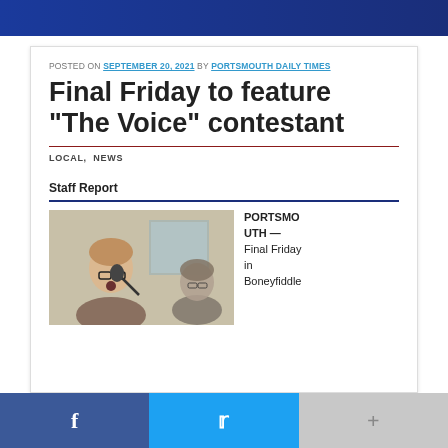POSTED ON SEPTEMBER 20, 2021 BY PORTSMOUTH DAILY TIMES
Final Friday to feature “The Voice” contestant
LOCAL, NEWS
Staff Report
[Figure (photo): Two people at a microphone, one singing into a mic in the foreground and another in the background]
PORTSMOUTH — Final Friday in Boneyfiddle
f  t  +